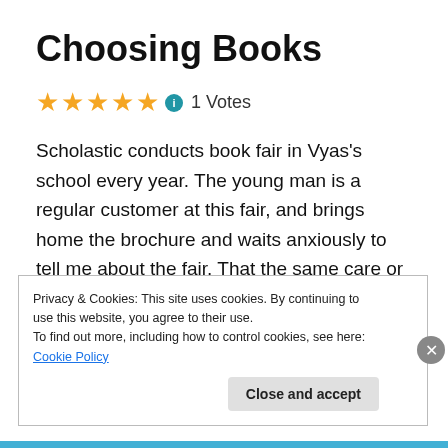Choosing Books
★★★★★ ⓘ 1 Votes
Scholastic conducts book fair in Vyas's school every year. The young man is a regular customer at this fair, and brings home the brochure and waits anxiously to tell me about the fair. That the same care or caution is not exercised for the circulars sent, project announcements made, or
Privacy & Cookies: This site uses cookies. By continuing to use this website, you agree to their use.
To find out more, including how to control cookies, see here: Cookie Policy
Close and accept